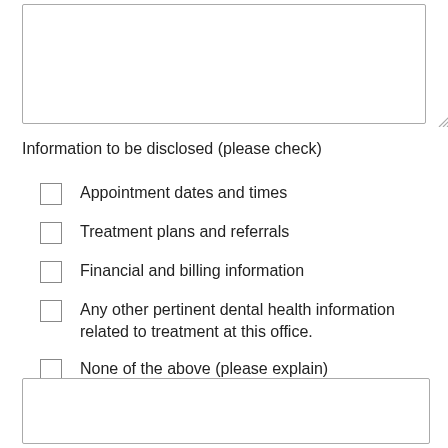Information to be disclosed (please check)
Appointment dates and times
Treatment plans and referrals
Financial and billing information
Any other pertinent dental health information related to treatment at this office.
None of the above (please explain)